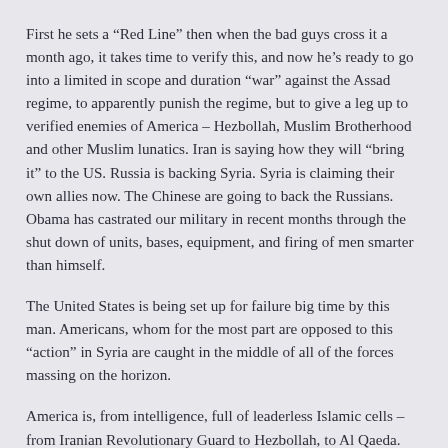First he sets a “Red Line” then when the bad guys cross it a month ago, it takes time to verify this, and now he’s ready to go into a limited in scope and duration “war” against the Assad regime, to apparently punish the regime, but to give a leg up to verified enemies of America – Hezbollah, Muslim Brotherhood and other Muslim lunatics. Iran is saying how they will “bring it” to the US. Russia is backing Syria. Syria is claiming their own allies now. The Chinese are going to back the Russians. Obama has castrated our military in recent months through the shut down of units, bases, equipment, and firing of men smarter than himself.
The United States is being set up for failure big time by this man. Americans, whom for the most part are opposed to this “action” in Syria are caught in the middle of all of the forces massing on the horizon.
America is, from intelligence, full of leaderless Islamic cells – from Iranian Revolutionary Guard to Hezbollah, to Al Qaeda. Americans are being disarmed in some states including my own, in an attemp(?) to make us more vulnerable to outside forces.